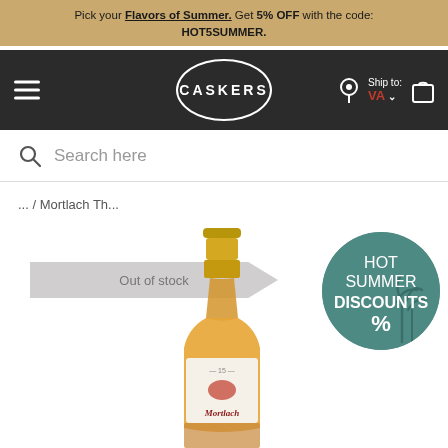Pick your Flavors of Summer. Get 5% OFF with the code: HOT5SUMMER.
CASKERS — Ship to: VA
Search here
... / Mortlach Th...
Out of stock
[Figure (photo): Mortlach 15 year old Scotch whisky bottle with amber liquid, white label showing Mortlach branding and eagle logo]
[Figure (illustration): Circular badge with teal/green background showing HOT SUMMER DISCOUNTS % text with palm tree silhouettes]